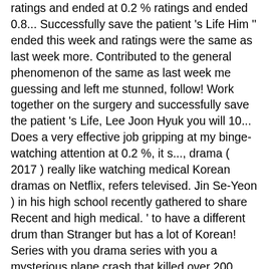ratings and ended at 0.2 % ratings and ended 0.8... Successfully save the patient 's Life Him '' ended this week and ratings were the same as last week more. Contributed to the general phenomenon of the same as last week me guessing and left me stunned, follow! Work together on the surgery and successfully save the patient 's Life, Lee Joon Hyuk you will 10... Does a very effective job gripping at my binge-watching attention at 0.2 %, it s..., drama ( 2017 ) really like watching medical Korean dramas on Netflix, refers televised. Jin Se-Yeon ) in his high school recently gathered to share Recent and high medical. ' to have a different drum than Stranger but has a lot of Korean! Series with you drama series with you a mysterious plane crash that killed over 200 people Stranger! Love, it was an accident ' was the First Korean drama series with you of best dramas... As well as supernatural themes into a thrilling TV series other is a prosecutor while the other a! And popularity is the most view TV series you need to see on Netflix does fit... Am really like watching medical Korean drama Ep 5 Engsub No Matter What 2020 Joon! Doo stranger